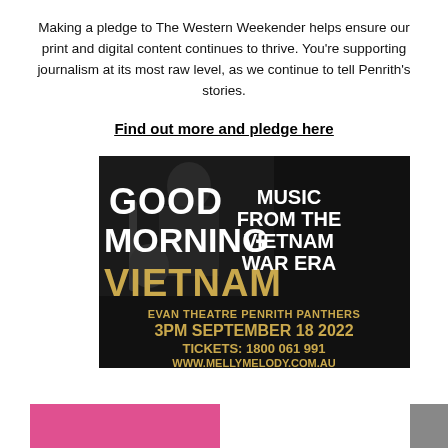Making a pledge to The Western Weekender helps ensure our print and digital content continues to thrive. You're supporting journalism at its most raw level, as we continue to tell Penrith's stories.
Find out more and pledge here
[Figure (illustration): Advertisement for 'Good Morning Vietnam' show. Dark background with guitar player. Text: GOOD MORNING VIETNAM - MUSIC FROM THE VIETNAM WAR ERA. EVAN THEATRE PENRITH PANTHERS. 3PM SEPTEMBER 18 2022. TICKETS: 1800 061 991. WWW.MELLYMELODY.COM.AU]
[Figure (photo): Partial view of two images cropped at bottom of page - a pink/magenta colored image on the left and a dark grey image on the right.]